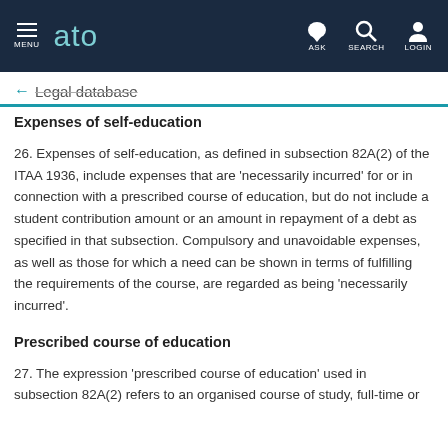MENU  ato  ASK  SEARCH  LOGIN
← Legal database
Expenses of self-education
26. Expenses of self-education, as defined in subsection 82A(2) of the ITAA 1936, include expenses that are 'necessarily incurred' for or in connection with a prescribed course of education, but do not include a student contribution amount or an amount in repayment of a debt as specified in that subsection. Compulsory and unavoidable expenses, as well as those for which a need can be shown in terms of fulfilling the requirements of the course, are regarded as being 'necessarily incurred'.
Prescribed course of education
27. The expression 'prescribed course of education' used in subsection 82A(2) refers to an organised course of study, full-time or